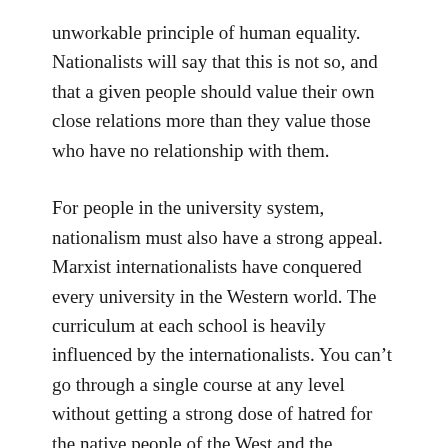unworkable principle of human equality. Nationalists will say that this is not so, and that a given people should value their own close relations more than they value those who have no relationship with them.
For people in the university system, nationalism must also have a strong appeal. Marxist internationalists have conquered every university in the Western world. The curriculum at each school is heavily influenced by the internationalists. You can't go through a single course at any level without getting a strong dose of hatred for the native people of the West and the indigenous culture. It's understandable that many of the people exposed to that curriculum who don't buy it wind up reacting in such a way.